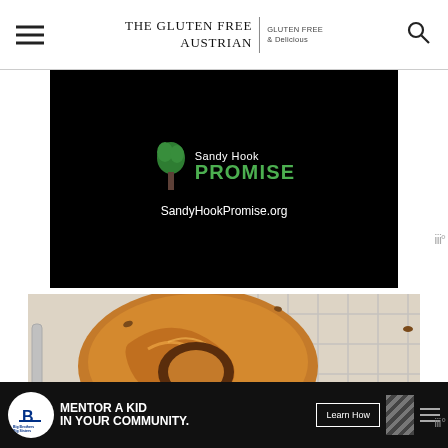The Gluten Free Austrian | Gluten Free & Delicious
[Figure (screenshot): Sandy Hook Promise advertisement on black background with green logo and SandyHookPromise.org URL]
[Figure (photo): Close-up food photo of glazed donuts with caramel and toppings on a cooling rack]
[Figure (screenshot): Big Brothers Big Sisters banner ad: Mentor a Kid in Your Community with Learn How button]